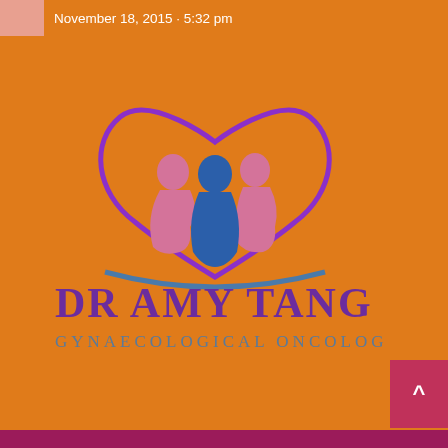November 18, 2015 · 5:32 pm
[Figure (logo): Dr Amy Tang Gynaecological Oncologist logo with heart shape containing three female silhouettes in pink and blue, with a blue arc underneath, and purple text reading DR AMY TANG GYNAECOLOGICAL ONCOLOGIST]